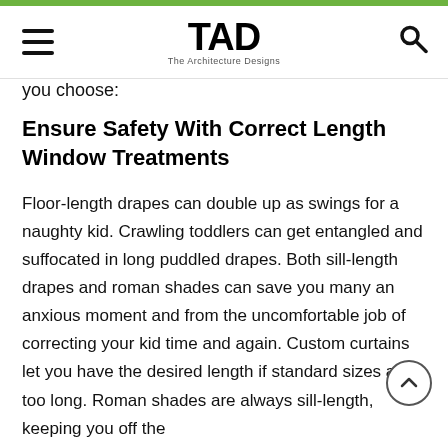TAD – The Architecture Designs
you choose:
Ensure Safety With Correct Length Window Treatments
Floor-length drapes can double up as swings for a naughty kid. Crawling toddlers can get entangled and suffocated in long puddled drapes. Both sill-length drapes and roman shades can save you many an anxious moment and from the uncomfortable job of correcting your kid time and again. Custom curtains let you have the desired length if standard sizes are too long. Roman shades are always sill-length, keeping you off the